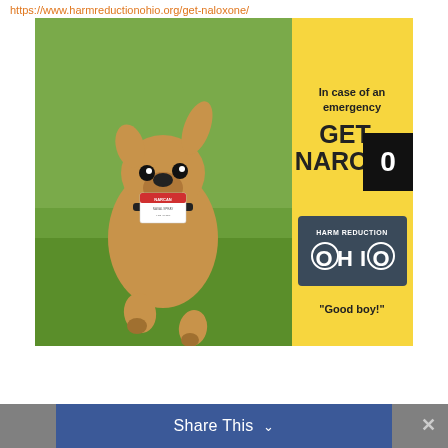https://www.harmreductionohio.org/get-naloxone/
[Figure (photo): A puppy running toward the camera holding a Narcan nasal spray box in its mouth, on a grass background. The right side has a yellow panel with text 'In case of an emergency GET NARCAN' and the Harm Reduction Ohio logo, plus the caption 'Good boy!'. A black badge with '0' overlaps the top right.]
"Good boy!"
Share This ∨